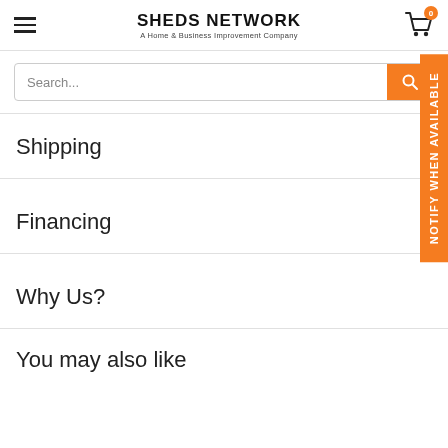SHEDS NETWORK — A Home & Business Improvement Company
Search...
Shipping
Financing
Why Us?
NOTIFY WHEN AVAILABLE
You may also like